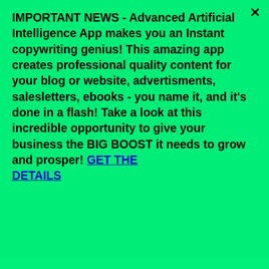IMPORTANT NEWS - Advanced Artificial Intelligence App makes you an Instant copywriting genius! This amazing app creates professional quality content for your blog or website, advertisments, salesletters, ebooks - you name it, and it's done in a flash! Take a look at this incredible opportunity to give your business the BIG BOOST it needs to grow and prosper! GET THE DETAILS
[Figure (screenshot): Website navigation bar with home icon (blue), hamburger menu (grey), search icon, and 'Your Smartphone' text. Below is a red banner, then a YouTube-style video player showing '$97 a Day Placing Small ...' with a user avatar.]